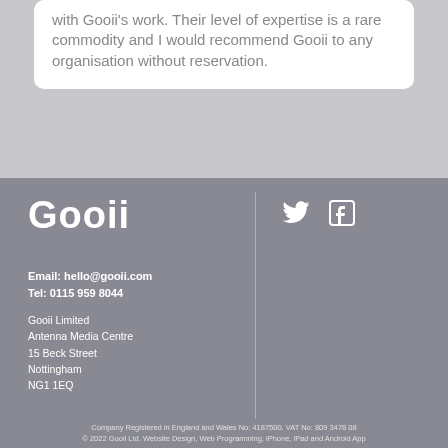with Gooii's work. Their level of expertise is a rare commodity and I would recommend Gooii to any organisation without reservation.
[Figure (logo): Gooii logo in white bold text]
[Figure (other): Twitter and Facebook social media icons in white]
Email: hello@gooii.com
Tel: 0115 959 8044
Gooii Limited
Antenna Media Centre
15 Beck Street
Nottingham
NG1 1EQ
Company Registered in England and Wales No: 4187500. VAT No: 809 3478 08
© 2022 Gooii Ltd. Website Design, Web Programming, iPhone, iPad and Android App